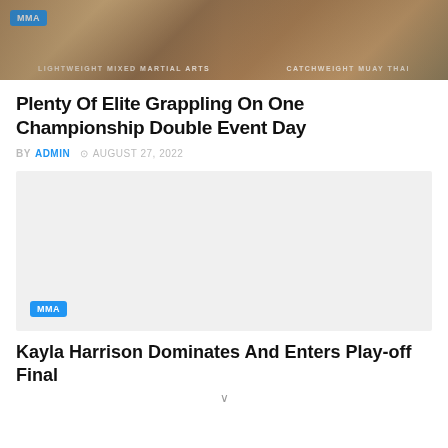[Figure (photo): MMA promotional banner showing fighters with text 'LIGHTWEIGHT MIXED MARTIAL ARTS' and 'CATCHWEIGHT MUAY THAI' and an MMA badge]
Plenty Of Elite Grappling On One Championship Double Event Day
BY ADMIN © AUGUST 27, 2022
[Figure (photo): Light gray placeholder image with MMA badge in bottom left corner]
Kayla Harrison Dominates And Enters Play-off Final